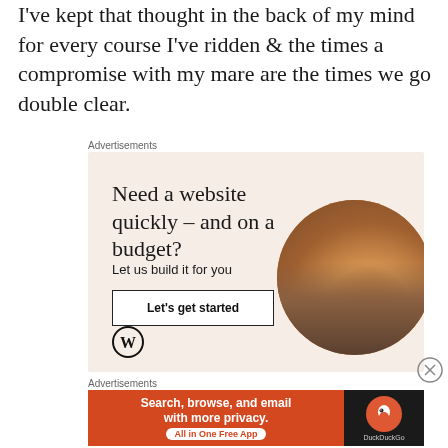I've kept that thought in the back of my mind for every course I've ridden & the times a compromise with my mare are the times we go double clear.
Advertisements
[Figure (other): WordPress advertisement banner: 'Need a website quickly – and on a budget? Let us build it for you' with a 'Let's get started' button, WordPress logo, and a circular photo of hands typing on a laptop.]
Advertisements
[Figure (other): DuckDuckGo advertisement: 'Search, browse, and email with more privacy. All in One Free App' on orange background with DuckDuckGo logo on black background.]